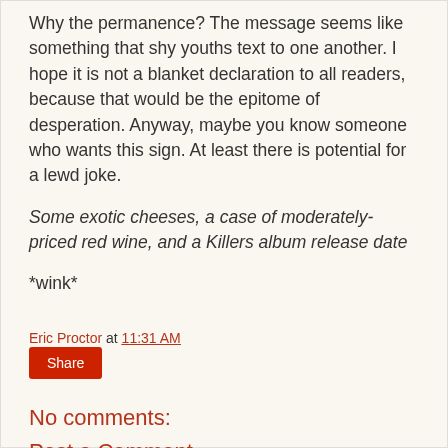Why the permanence? The message seems like something that shy youths text to one another. I hope it is not a blanket declaration to all readers, because that would be the epitome of desperation. Anyway, maybe you know someone who wants this sign. At least there is potential for a lewd joke.
Some exotic cheeses, a case of moderately-priced red wine, and a Killers album release date
*wink*
Eric Proctor at 11:31 AM
Share
No comments:
Post a Comment